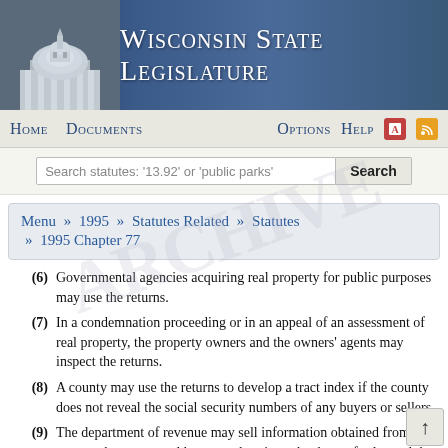Wisconsin State Legislature
Home   Documents   Options   Help
Search statutes: '13.92' or 'public parks'   Search
Menu » 1995 » Statutes Related » Statutes » 1995 Chapter 77
(6) Governmental agencies acquiring real property for public purposes may use the returns.
(7) In a condemnation proceeding or in an appeal of an assessment of real property, the property owners and the owners' agents may inspect the returns.
(8) A county may use the returns to develop a tract index if the county does not reveal the social security numbers of any buyers or sellers.
(9) The department of revenue may sell information obtained from the returns about street addresses, sale prices, the dates of sales and the types of conveyancing instruments.